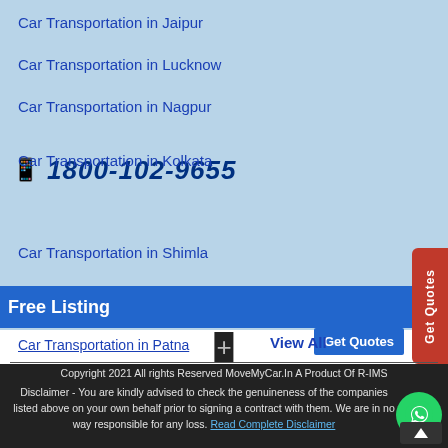Car Transportation in Jaipur
Car Transportation in Lucknow
Car Transportation in Nagpur
1800-102-9655
Car Transportation in Kolkata
Car Transportation in Shimla
Free Listing
Car Transportation in Patna
View All
Get Quotes
Get Quotes
+
Copyright 2021 All rights Reserved MoveMyCar.In A Product Of R-IMS
Disclaimer - You are kindly advised to check the genuineness of the companies listed above on your own behalf prior to signing a contract with them. We are in no way responsible for any loss. Read Complete Disclaimer